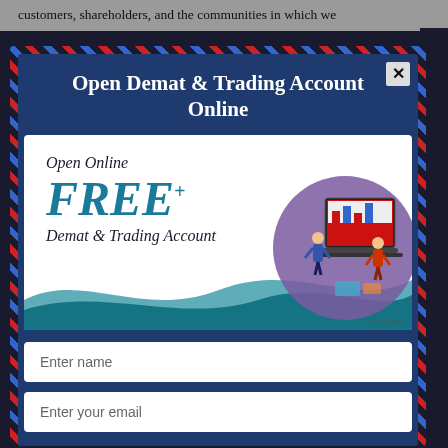customers, shareholders, and the communities in which we
[Figure (screenshot): A modal popup advertisement for opening a Demat & Trading Account Online. The modal has an airmail-style border with red and blue diagonal stripes, a dark navy blue background, a title 'Open Demat & Trading Account Online' in white serif font, a white advertisement banner showing 'Open Online FREE* Demat & Trading Account' with a teal wave and an illustration of people with a laptop and bar chart, a '*T&C Apply' footnote, and two form fields for 'Enter name' and 'Enter your email'. A close button (X) is in the top right corner.]